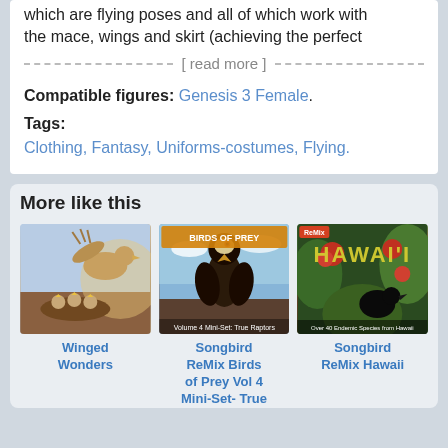which are flying poses and all of which work with the mace, wings and skirt (achieving the perfect
[ read more ]
Compatible figures: Genesis 3 Female.
Tags:
Clothing, Fantasy, Uniforms-costumes, Flying.
More like this
[Figure (photo): Winged Wonders - animated bird scene with small birds in nest]
Winged Wonders
[Figure (photo): Songbird ReMix Birds of Prey Vol 4 Mini-Set- True - cover with large dark bird of prey against sky]
Songbird ReMix Birds of Prey Vol 4 Mini-Set- True
[Figure (photo): Songbird ReMix Hawaii - cover with Hawaii text and tropical birds and flowers]
Songbird ReMix Hawaii